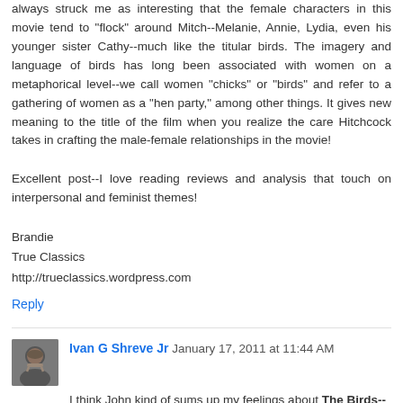always struck me as interesting that the female characters in this movie tend to "flock" around Mitch--Melanie, Annie, Lydia, even his younger sister Cathy--much like the titular birds. The imagery and language of birds has long been associated with women on a metaphorical level--we call women "chicks" or "birds" and refer to a gathering of women as a "hen party," among other things. It gives new meaning to the title of the film when you realize the care Hitchcock takes in crafting the male-female relationships in the movie!
Excellent post--I love reading reviews and analysis that touch on interpersonal and feminist themes!
Brandie
True Classics
http://trueclassics.wordpress.com
Reply
Ivan G Shreve Jr  January 17, 2011 at 11:44 AM
I think John kind of sums up my feelings about The Birds--